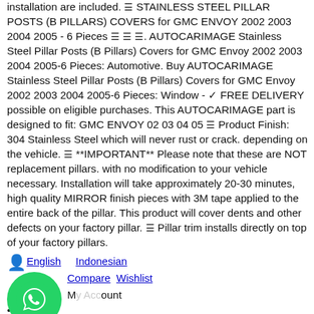installation are included. ☰ STAINLESS STEEL PILLAR POSTS (B PILLARS) COVERS for GMC ENVOY 2002 2003 2004 2005 - 6 Pieces ☰ ☰ ☰. AUTOCARIMAGE Stainless Steel Pillar Posts (B Pillars) Covers for GMC Envoy 2002 2003 2004 2005-6 Pieces: Automotive. Buy AUTOCARIMAGE Stainless Steel Pillar Posts (B Pillars) Covers for GMC Envoy 2002 2003 2004 2005-6 Pieces: Window - ✓ FREE DELIVERY possible on eligible purchases. This AUTOCARIMAGE part is designed to fit: GMC ENVOY 02 03 04 05 ☰ Product Finish: 304 Stainless Steel which will never rust or crack. depending on the vehicle. ☰ **IMPORTANT** Please note that these are NOT replacement pillars. with no modification to your vehicle necessary. Installation will take approximately 20-30 minutes, high quality MIRROR finish pieces with 3M tape applied to the entire back of the pillar. This product will cover dents and other defects on your factory pillar. ☰ Pillar trim installs directly on top of your factory pillars.
English   Indonesian
Compare   Wishlist
My Account
Cart